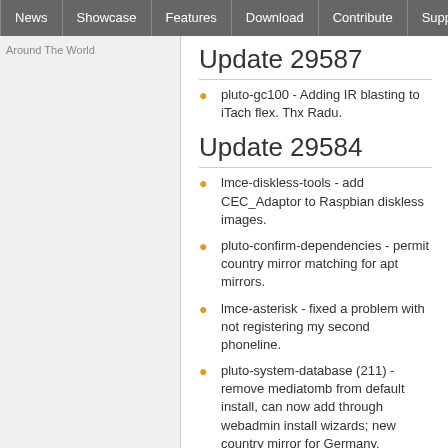News | Showcase | Features | Download | Contribute | Support
Around The World
Update 29587
pluto-gc100 - Adding IR blasting to iTach flex. Thx Radu.
Update 29584
lmce-diskless-tools - add CEC_Adaptor to Raspbian diskless images.
pluto-confirm-dependencies - permit country mirror matching for apt mirrors.
lmce-asterisk - fixed a problem with not registering my second phoneline.
pluto-system-database (211) - remove mediatomb from default install, can now add through webadmin install wizards; new country mirror for Germany.
lmce-transmission-client (952)